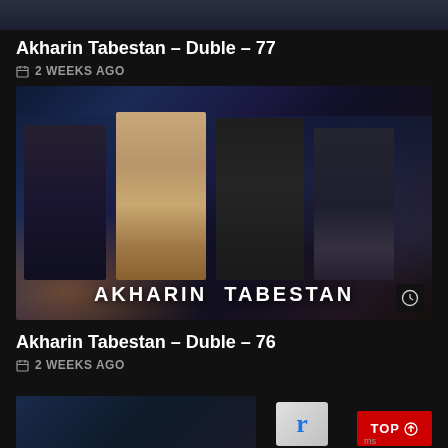[Figure (screenshot): Top cropped image strip of a TV show thumbnail]
Akharin Tabestan – Duble – 77
2 WEEKS AGO
[Figure (photo): Promotional image for Akharin Tabestan Turkish TV series showing four cast members standing against a city skyline backdrop at night. Text 'AKHARIN TABESTAN' displayed at bottom of image. Clock/history icon in bottom right corner.]
Akharin Tabestan – Duble – 76
2 WEEKS AGO
[Figure (screenshot): Bottom partial thumbnail of next episode entry and TOP button overlay]